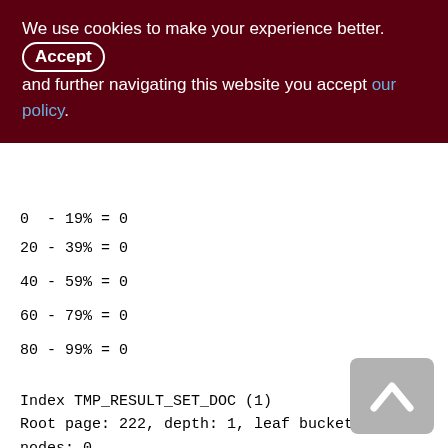We use cookies to make your experience better. By accepting and further navigating this website you accept our policy.
0 - 19% = 0
20 - 39% = 0
40 - 59% = 0
60 - 79% = 0
80 - 99% = 0
Index TMP_RESULT_SET_DOC (1)
Root page: 222, depth: 1, leaf buckets: 1, nodes: 0
Average node length: 0.00, total dup: 0, max dup: 0
Average key length: 0.00, compression ratio: 0.00